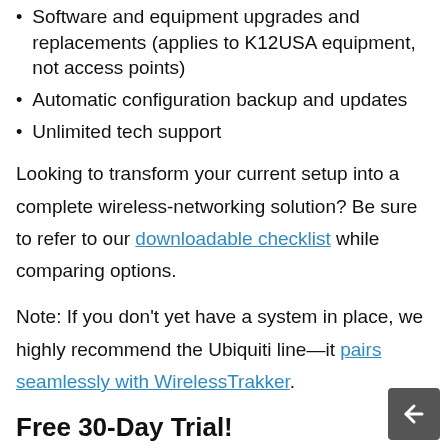Software and equipment upgrades and replacements (applies to K12USA equipment, not access points)
Automatic configuration backup and updates
Unlimited tech support
Looking to transform your current setup into a complete wireless-networking solution? Be sure to refer to our downloadable checklist while comparing options.
Note: If you don't yet have a system in place, we highly recommend the Ubiquiti line—it pairs seamlessly with WirelessTrakker.
Free 30-Day Trial!